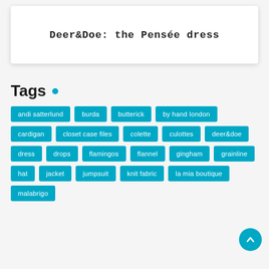Deer&Doe: the Pensée dress
Tags .
andi satterlund
burda
butterick
by hand london
cardigan
closet case files
colette
culottes
deer&doe
dress
drops
flamingos
flannel
gingham
grainline
hat
jacket
jumpsuit
knit fabric
la mia boutique
malabrigo